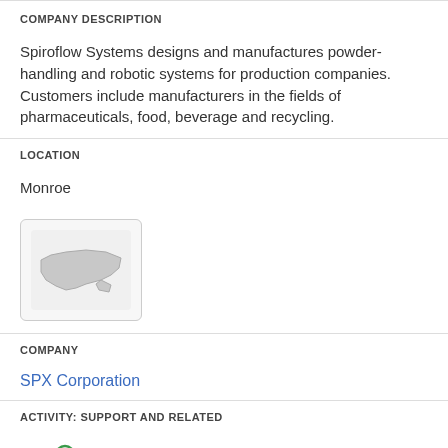COMPANY DESCRIPTION
Spiroflow Systems designs and manufactures powder-handling and robotic systems for production companies. Customers include manufacturers in the fields of pharmaceuticals, food, beverage and recycling.
LOCATION
Monroe
[Figure (map): Small map thumbnail showing outline of North Carolina state]
COMPANY
SPX Corporation
ACTIVITY: SUPPORT AND RELATED
[Figure (illustration): Green people/team icon group — three figures]